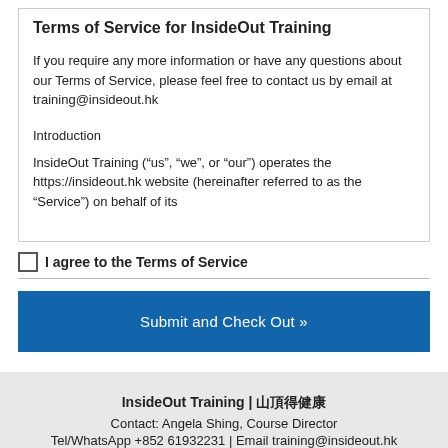Terms of Service for InsideOut Training
If you require any more information or have any questions about our Terms of Service, please feel free to contact us by email at training@insideout.hk
Introduction
InsideOut Training (“us”, “we”, or “our”) operates the https://insideout.hk website (hereinafter referred to as the “Service”) on behalf of its
I agree to the Terms of Service
Submit and Check Out »
InsideOut Training | 山頂得健康
Contact: Angela Shing, Course Director
Tel/WhatsApp +852 61932231 | Email training@insideout.hk
Copyright © 2022 InsideOut Training